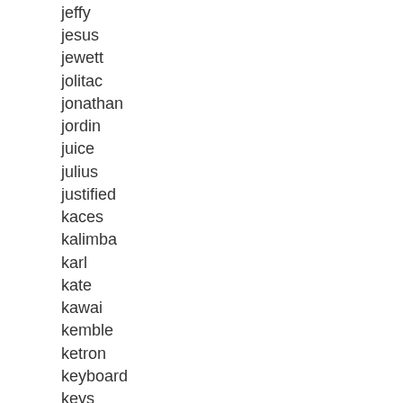jeffy
jesus
jewett
jolitac
jonathan
jordin
juice
julius
justified
kaces
kalimba
karl
kate
kawai
kemble
ketron
keyboard
keys
killerblood
kirkman
kmise